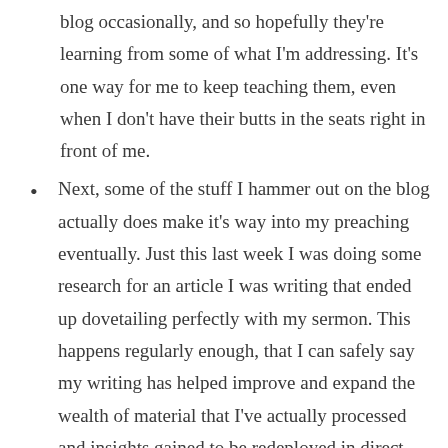blog occasionally, and so hopefully they're learning from some of what I'm addressing. It's one way for me to keep teaching them, even when I don't have their butts in the seats right in front of me.
Next, some of the stuff I hammer out on the blog actually does make it's way into my preaching eventually. Just this last week I was doing some research for an article I was writing that ended up dovetailing perfectly with my sermon. This happens regularly enough, that I can safely say my writing has helped improve and expand the wealth of material that I've actually processed and insights gained to be redeployed in direct ministry context. In other words, writing helps me be a more insightful